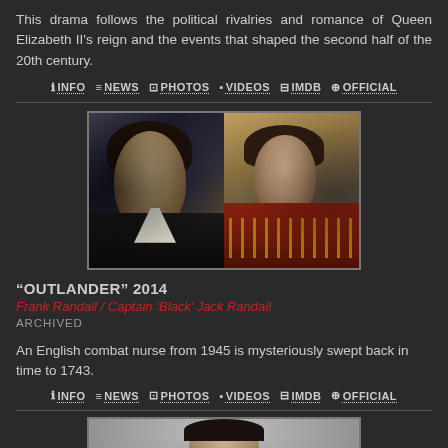This drama follows the political rivalries and romance of Queen Elizabeth II's reign and the events that shaped the second half of the 20th century.
ℹ INFO  ≡NEWS  📷PHOTOS  ▶VIDEOS  🎬IMDB  🌐OFFICIAL
[Figure (photo): Two side-by-side photos: left shows a man in a dark suit with white collar, right shows a man in a red ornate jacket with gold trim]
“OUTLANDER” 2014
Frank Randall / Captain ‘Black’ Jack Randall
ARCHIVED
An English combat nurse from 1945 is mysteriously swept back in time to 1743.
ℹ INFO  ≡NEWS  📷PHOTOS  ▶VIDEOS  🎬IMDB  🌐OFFICIAL
[Figure (photo): A person wearing a dark hat against a grey background, partially visible at the bottom of the page]